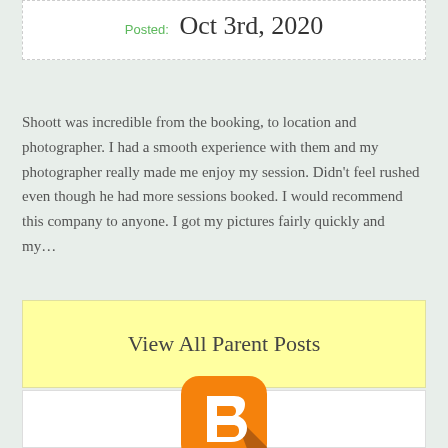Posted: Oct 3rd, 2020
Shoott was incredible from the booking, to location and photographer. I had a smooth experience with them and my photographer really made me enjoy my session. Didn't feel rushed even though he had more sessions booked. I would recommend this company to anyone. I got my pictures fairly quickly and my…
View All Parent Posts
[Figure (logo): Blogger logo - orange rounded square with white 'B' letter icon and brown shadow]